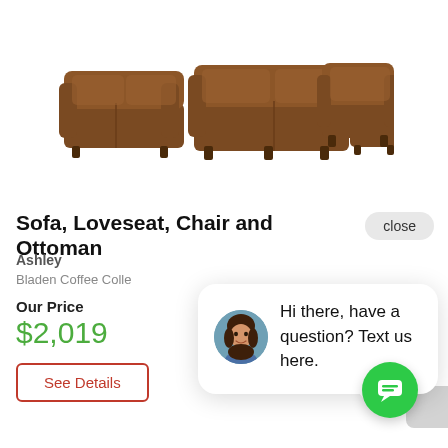[Figure (photo): Product image showing three pieces of brown leather furniture: a loveseat on the left, a sofa in the center, and an armchair with ottoman on the right.]
Sofa, Loveseat, Chair and Ottoman
close
Ashley
Bladen Coffee Colle
Our Price
$2,019
See Details
[Figure (photo): Chat widget popup with avatar of a woman with brown hair and text: Hi there, have a question? Text us here.]
Hi there, have a question? Text us here.
[Figure (other): Green circular chat FAB button with chat/message icon]